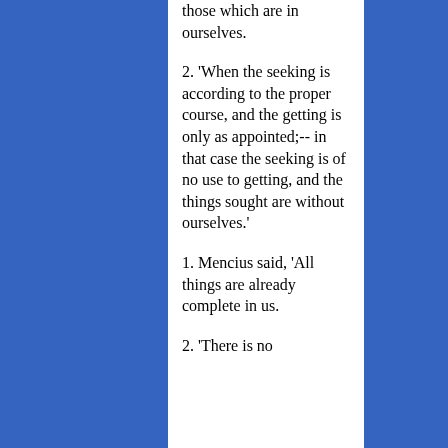those which are in ourselves.
2. 'When the seeking is according to the proper course, and the getting is only as appointed;-- in that case the seeking is of no use to getting, and the things sought are without ourselves.'
1. Mencius said, 'All things are already complete in us.
2. 'There is no